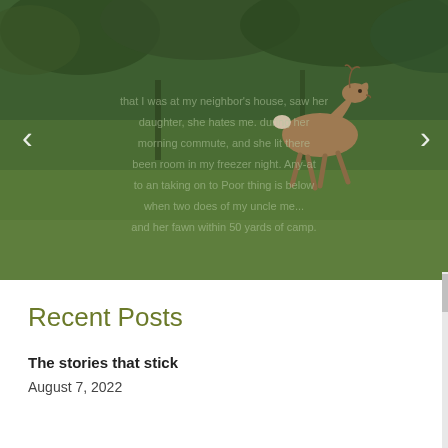[Figure (photo): A deer running across a grassy lawn with trees in the background. Overlaid faded text is partially visible on the image. Navigation arrows (< and >) are on the left and right sides of the image slider.]
Recent Posts
The stories that stick
August 7, 2022